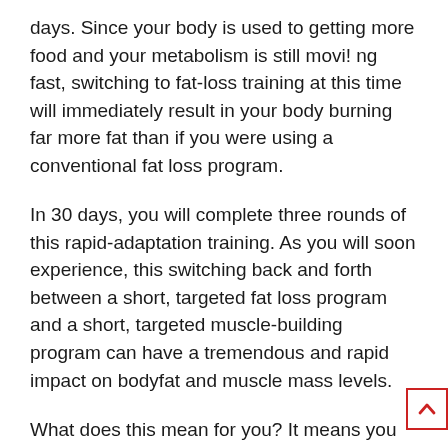days. Since your body is used to getting more food and your metabolism is still movi! ng fast, switching to fat-loss training at this time will immediately result in your body burning far more fat than if you were using a conventional fat loss program.
In 30 days, you will complete three rounds of this rapid-adaptation training. As you will soon experience, this switching back and forth between a short, targeted fat loss program and a short, targeted muscle-building program can have a tremendous and rapid impact on bodyfat and muscle mass levels.
What does this mean for you? It means you can lose fat faster and gain muscle faster, taking FULL advantage of your body's natural reaction and rapid adaptation to